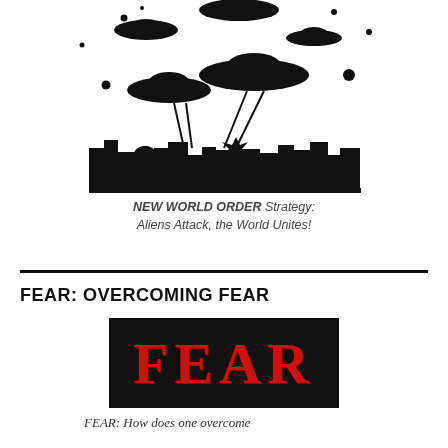[Figure (illustration): Black silhouette illustration of flying saucers/UFOs attacking a city skyline with beams, dots and stars scattered around]
NEW WORLD ORDER Strategy: Aliens Attack, the World Unites!
[Figure (illustration): Black rectangle with large red distressed letters spelling FEAR]
FEAR: OVERCOMING FEAR
FEAR: How does one overcome